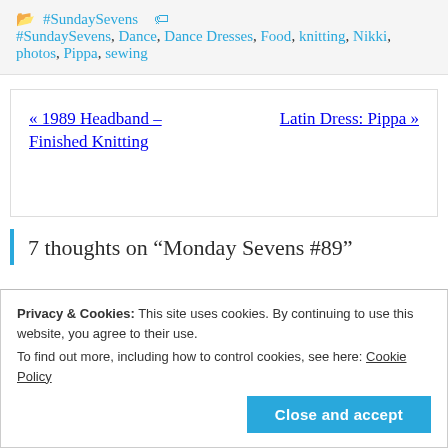📂 #SundaySevens 🏷 #SundaySevens, Dance, Dance Dresses, Food, knitting, Nikki, photos, Pippa, sewing
« 1989 Headband – Finished Knitting   Latin Dress: Pippa »
7 thoughts on "Monday Sevens #89"
Privacy & Cookies: This site uses cookies. By continuing to use this website, you agree to their use.
To find out more, including how to control cookies, see here: Cookie Policy